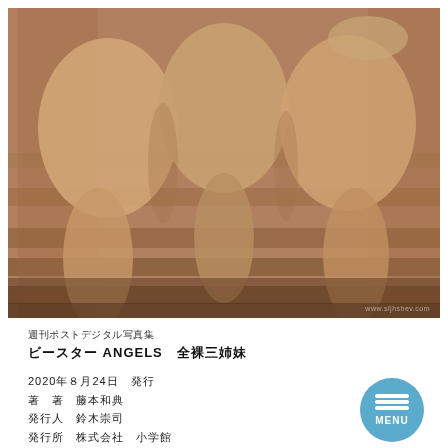[Figure (photo): Photograph used as book cover image, showing figures from behind on wooden stairs, warm skin tones]
週刊ポストデジタル写真集
ビースター ANGELS　全裸三姉妹
2020年８月24日　発行
著　著　藤本和典
発行人　鈴木崇司
発行所　株式会社　小学館
　　　　〒101－8001
　　　　東京都千代田区一ツ橋２－３－１